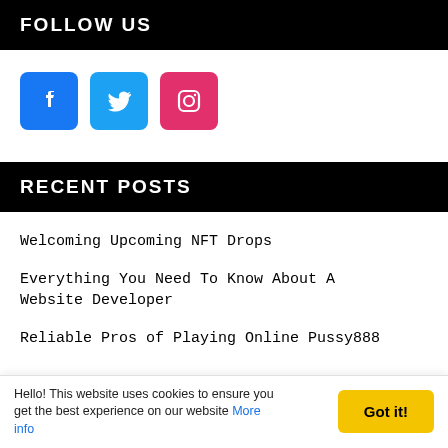FOLLOW US
[Figure (other): Social media icons: Facebook (blue), Twitter (light blue), Instagram (pink/magenta)]
RECENT POSTS
Welcoming Upcoming NFT Drops
Everything You Need To Know About A Website Developer
Reliable Pros of Playing Online Pussy888
Hello! This website uses cookies to ensure you get the best experience on our website More info   Got it!